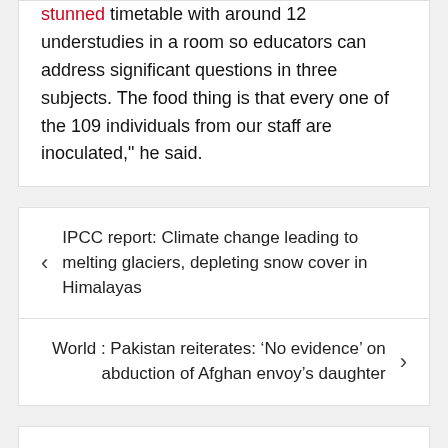stunned timetable with around 12 understudies in a room so educators can address significant questions in three subjects. The food thing is that every one of the 109 individuals from our staff are inoculated," he said.
IPCC report: Climate change leading to melting glaciers, depleting snow cover in Himalayas
World : Pakistan reiterates: 'No evidence' on abduction of Afghan envoy's daughter
Leave a Reply
Your email address will not be published. Required fields are marked *